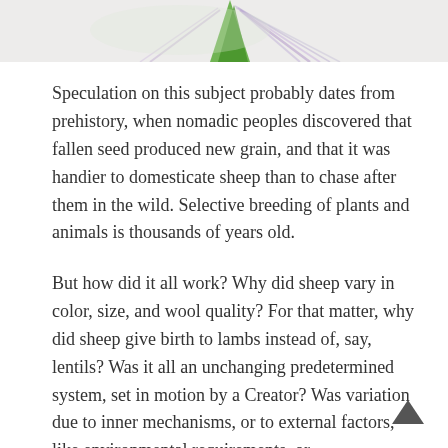[Figure (illustration): Partial illustration at the top of the page showing what appears to be a plant or flower with green and purple coloring against a light background.]
Speculation on this subject probably dates from prehistory, when nomadic peoples discovered that fallen seed produced new grain, and that it was handier to domesticate sheep than to chase after them in the wild. Selective breeding of plants and animals is thousands of years old.
But how did it all work? Why did sheep vary in color, size, and wool quality? For that matter, why did sheep give birth to lambs instead of, say, lentils? Was it all an unchanging predetermined system, set in motion by a Creator? Was variation due to inner mechanisms, or to external factors, like environmental requirements, or